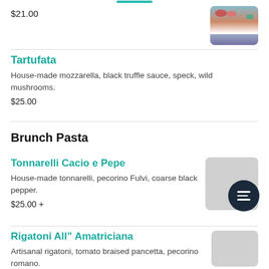$21.00
[Figure (photo): Food photo - pizza or dish with tomatoes and greens]
Tartufata
House-made mozzarella, black truffle sauce, speck, wild mushrooms.
$25.00
Brunch Pasta
Tonnarelli Cacio e Pepe
House-made tonnarelli, pecorino Fulvi, coarse black pepper.
$25.00 +
[Figure (photo): Gray placeholder image for Tonnarelli Cacio e Pepe]
Rigatoni All" Amatriciana
Artisanal rigatoni, tomato braised pancetta, pecorino romano.
[Figure (photo): Gray placeholder image for Rigatoni]